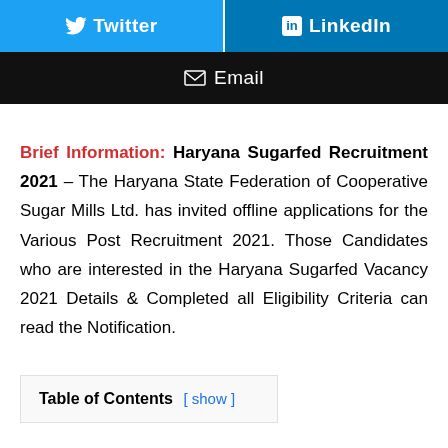[Figure (screenshot): Social share buttons: Twitter (blue) and LinkedIn (blue) side by side]
[Figure (screenshot): Email share button (black background)]
Brief Information: Haryana Sugarfed Recruitment 2021 – The Haryana State Federation of Cooperative Sugar Mills Ltd. has invited offline applications for the Various Post Recruitment 2021. Those Candidates who are interested in the Haryana Sugarfed Vacancy 2021 Details & Completed all Eligibility Criteria can read the Notification.
Table of Contents [ show ]